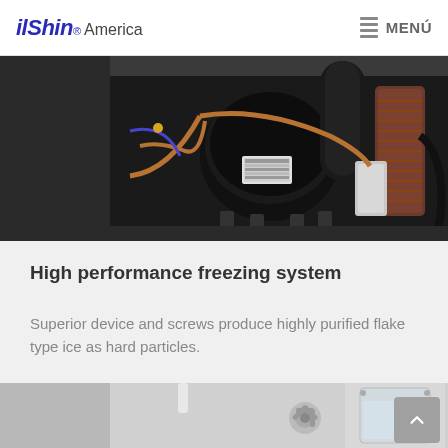ilShin® America  MENÚ
[Figure (photo): Interior view of a refrigeration/freezing system showing a black compressor unit, copper tubing, insulated pipes, and condenser coil components inside the machine housing.]
High performance freezing system
Superior device and screws produce highly purified flake type ice as hard particles.
[Figure (photo): Bottom portion of a freezing system showing internal mechanical components including an auger/screw mechanism and a clear transparent container, photographed in grayscale.]